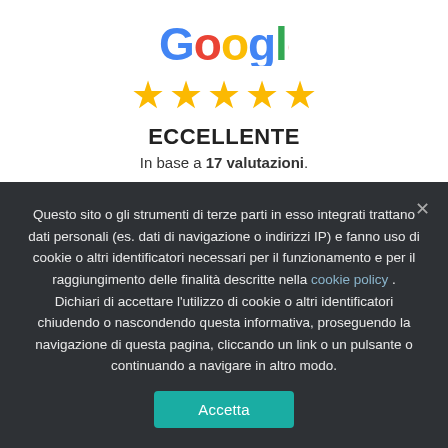[Figure (logo): Google logo in multicolor text]
[Figure (other): Five gold star rating icons]
ECCELLENTE
In base a 17 valutazioni.
Alessia Berruti
15/07/2022
Questo sito o gli strumenti di terze parti in esso integrati trattano dati personali (es. dati di navigazione o indirizzi IP) e fanno uso di cookie o altri identificatori necessari per il funzionamento e per il raggiungimento delle finalità descritte nella cookie policy . Dichiari di accettare l'utilizzo di cookie o altri identificatori chiudendo o nascondendo questa informativa, proseguendo la navigazione di questa pagina, cliccando un link o un pulsante o continuando a navigare in altro modo.
Accetta